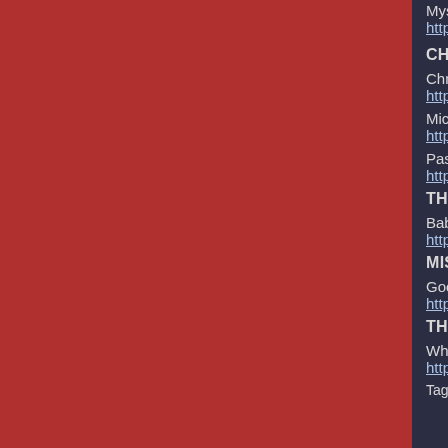Mystery 'missile' launch in US: the theories
http://bit.ly/aATOyW
CHRISTIANITY NEWS
Christian sentenced to death for talking about...
http://bit.ly/cswkgs
Michigan city files for church site approval
http://bit.ly/cCUQIN
Pastor issues warning to activist judges
http://bit.ly/aPKO8V
THE UNFRIENDLY SKIES
Baby's diaper blowout costs St. Albert couple...
http://bit.ly/9Zhnzp
MISC NEWS
Good Samaritans Return $3,600 in Lost Tip...
http://aol.it/cnUmOk
THE PRICE OF FAME OR MIND CONTROL
Which Disney Star Had the Biggest Meltdown...
http://fxn.ws/8XYWdv
Tags: food safety, freedom, laws, legislation, liberty, ne...